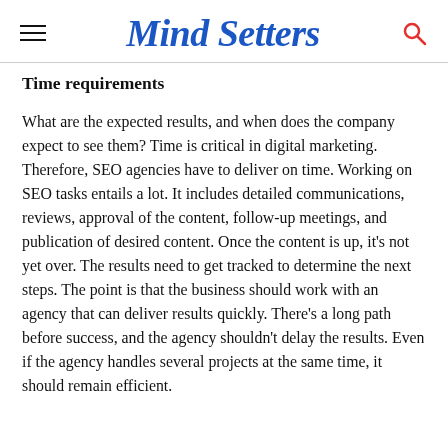Mind Setters
Time requirements
What are the expected results, and when does the company expect to see them? Time is critical in digital marketing. Therefore, SEO agencies have to deliver on time. Working on SEO tasks entails a lot. It includes detailed communications, reviews, approval of the content, follow-up meetings, and publication of desired content. Once the content is up, it’s not yet over. The results need to get tracked to determine the next steps. The point is that the business should work with an agency that can deliver results quickly. There’s a long path before success, and the agency shouldn’t delay the results. Even if the agency handles several projects at the same time, it should remain efficient.